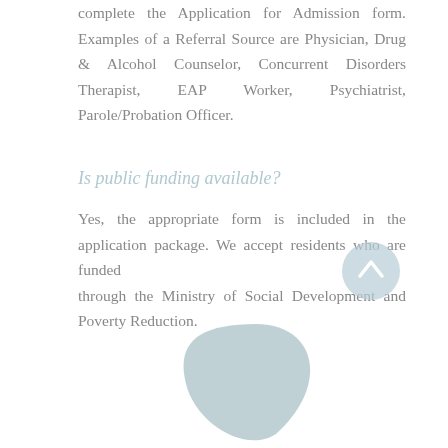complete the Application for Admission form. Examples of a Referral Source are Physician, Drug & Alcohol Counselor, Concurrent Disorders Therapist, EAP Worker, Psychiatrist, Parole/Probation Officer.
Is public funding available?
Yes, the appropriate form is included in the application package. We accept residents who are funded through the Ministry of Social Development and Poverty Reduction.
[Figure (other): A light blue circular scroll-to-top button with an upward chevron arrow icon]
[Figure (illustration): A decorative blue-grey leaf or petal shape partially visible at the bottom center of the page]